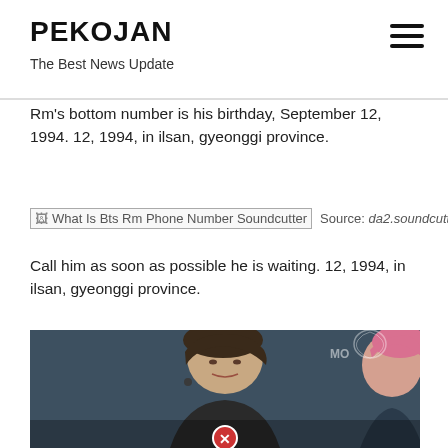PEKOJAN
The Best News Update
Rm's bottom number is his birthday, September 12, 1994. 12, 1994, in ilsan, gyeonggi province.
[Figure (photo): Broken image placeholder for 'What Is Bts Rm Phone Number Soundcutter' with source credit: da2.soundcutter.org]
Call him as soon as possible he is waiting. 12, 1994, in ilsan, gyeonggi province.
[Figure (photo): Photo of two young men at an event; one with dark hair in center, another with pink hair on right side; a lion logo visible in upper right background. Close/X button overlay at bottom center.]